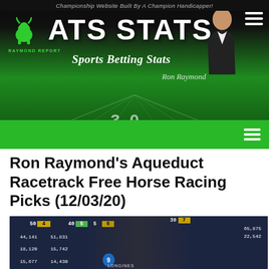Championship Website Built By A Champion Handicapper!
[Figure (screenshot): ATS Stats Raymond Report website banner with green football field background, bull logo, person silhouette, and site title 'ATS STATS Sports Betting Stats']
Ron Raymond's Aqueduct Racetrack Free Horse Racing Picks (12/03/20)
[Figure (photo): Horse racing photo showing jockeys on horses racing past a tote board displaying numbers including 50, 4, 40, 5, 5, 6, 30, 7, and dollar amounts 44,141 / 51,831 / 65,875 / 18,120 / 15,742 / 5,677 / 14,430. Horse number 9 with LONGINES branding visible.]